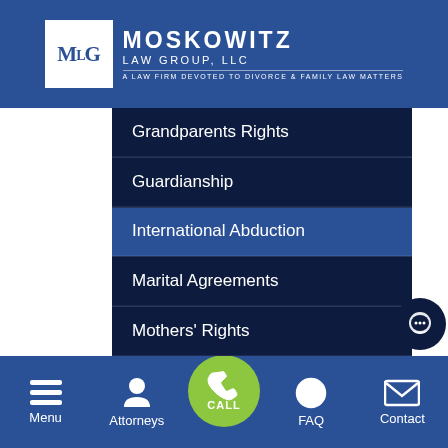[Figure (logo): Moskowitz Law Group, LLC logo with MLG monogram and tagline 'A Law Firm Devoted to Divorce & Family Law Matters']
Grandparents Rights
Guardianship
International Abduction
Marital Agreements
Mothers' Rights
[Figure (other): Bottom navigation bar with Menu, Attorneys, CALL button, FAQ, and Contact icons]